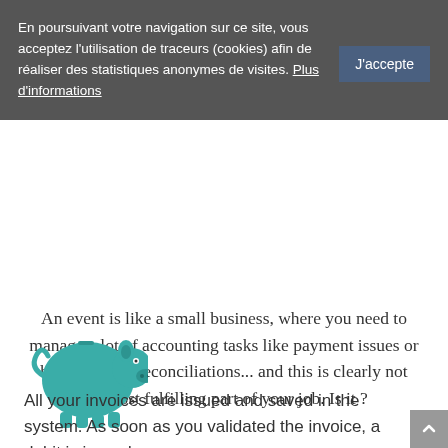En poursuivant votre navigation sur ce site, vous acceptez l'utilisation de traceurs (cookies) afin de réaliser des statistiques anonymes de visites. Plus d'informations
J'accepte
An event is like a small business, where you need to manage a lot of accounting tasks like payment issues or bank account reconciliations... and this is clearly not the most fulfilling part of your job. Is it ?
[Figure (illustration): Teal/turquoise piggy bank icon]
All your invoices are issued and saved in the system. As soon as you validated the invoice, a debit is issued on your